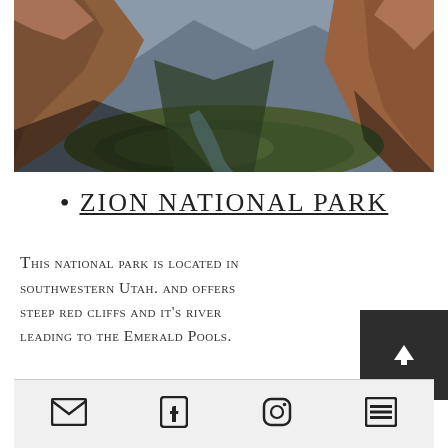[Figure (photo): Aerial view of Zion National Park canyon with steep red cliffs, green valley, and dramatic rocky formations]
ZION NATIONAL PARK
This national park is located in southwestern Utah. and offers steep red cliffs and it's river leading to the Emerald Pools.
Social media icons: email, facebook, instagram, list/menu